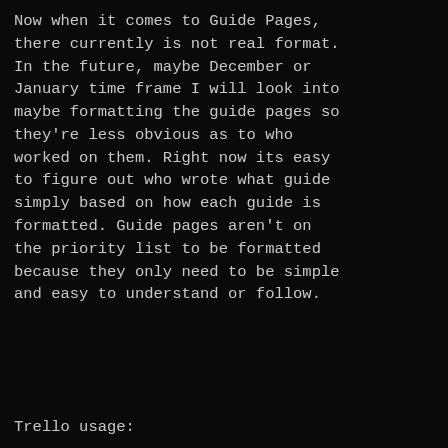Now when it comes to Guide Pages, there currently is not real format. In the future, maybe December or January time frame I will look into maybe formatting the guide pages so they're less obvious as to who worked on them. Right now its easy to figure out who wrote what guide simply based on how each guide is formatted. Guide pages aren't on the priority list to be formatted because they only need to be simple and easy to understand or follow.
Trello usage: